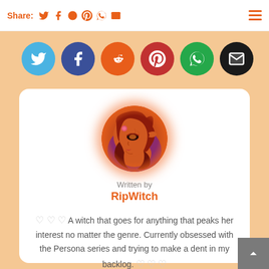Share: [Twitter] [Facebook] [Reddit] [Pinterest] [WhatsApp] [Email]
[Figure (illustration): Row of six social media share buttons as colored circles: Twitter (blue), Facebook (dark blue), Reddit (orange), Pinterest (red), WhatsApp (green), Email (black)]
[Figure (illustration): Circular avatar of a fantasy character (elf/demon girl with red hair and orange skin, stylized art) with orange glow border]
Written by
RipWitch
♡ ♡ ♡ A witch that goes for anything that peaks her interest no matter the genre. Currently obsessed with the Persona series and trying to make a dent in my backlog. ♡ ♡ ♡